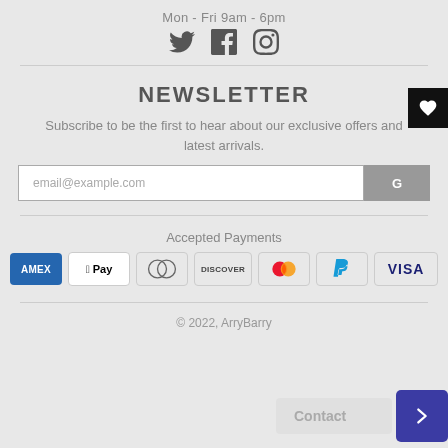Mon - Fri 9am - 6pm
[Figure (illustration): Social media icons: Twitter, Facebook, Instagram]
NEWSLETTER
Subscribe to be the first to hear about our exclusive offers and latest arrivals.
[Figure (screenshot): Email input field with placeholder 'email@example.com' and a GO button]
Accepted Payments
[Figure (illustration): Payment method icons: AMEX, Apple Pay, Diners Club, Discover, Mastercard, PayPal, VISA]
© 2022, ArryBarry